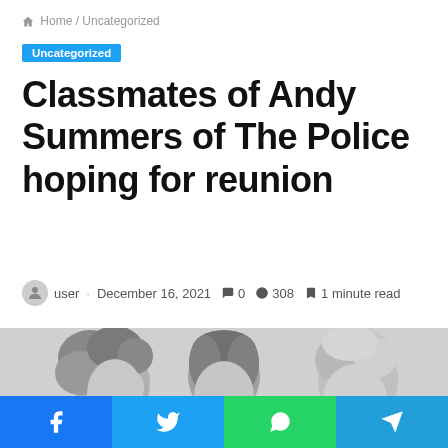Home / Uncategorized
Uncategorized
Classmates of Andy Summers of The Police hoping for reunion
user · December 16, 2021  0  308  1 minute read
[Figure (photo): Black and white photo of three band members of The Police]
Facebook Twitter WhatsApp Telegram share buttons